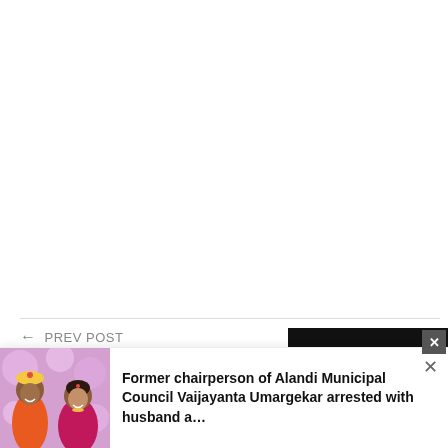[Figure (photo): Large white/blank area at top of page, likely an advertisement or image placeholder]
← PREV POST
Congress retains Ernakulam
[Figure (photo): Dark video player block with clip badge logo]
[Figure (photo): Notification banner showing a couple in traditional Indian wedding attire against floral background]
Former chairperson of Alandi Municipal Council Vaijayanta Umargekar arrested with husband a…